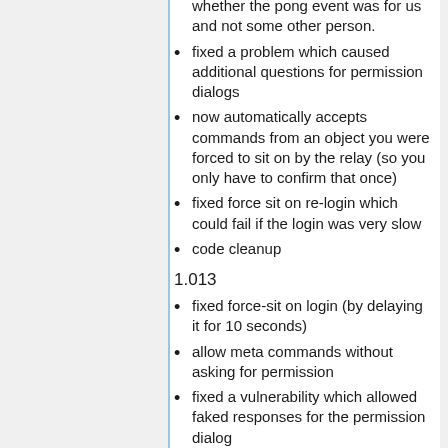whether the pong event was for us and not some other person.
fixed a problem which caused additional questions for permission dialogs
now automatically accepts commands from an object you were forced to sit on by the relay (so you only have to confirm that once)
fixed force sit on re-login which could fail if the login was very slow
code cleanup
1.013
fixed force-sit on login (by delaying it for 10 seconds)
allow meta commands without asking for permission
fixed a vulnerability which allowed faked responses for the permission dialog